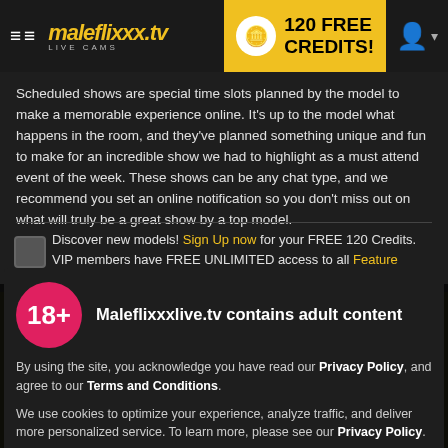maleflixxx.tv LIVE CAMS | 120 FREE CREDITS!
Scheduled shows are special time slots planned by the model to make a memorable experience online. It's up to the model what happens in the room, and they've planned something unique and fun to make for an incredible show we had to highlight as a must attend event of the week. These shows can be any chat type, and we recommend you set an online notification so you don't miss out on what will truly be a great show by a top model.
Discover new models! Sign Up now for your FREE 120 Credits. VIP members have FREE UNLIMITED access to all Feature Shows.
Maleflixxxlive.tv contains adult content
By using the site, you acknowledge you have read our Privacy Policy, and agree to our Terms and Conditions.
We use cookies to optimize your experience, analyze traffic, and deliver more personalized service. To learn more, please see our Privacy Policy.
I AGREE